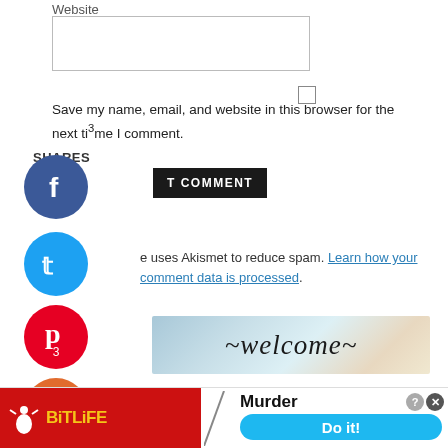Website
Save my name, email, and website in this browser for the next time I comment.
SHARES
POST COMMENT
e uses Akismet to reduce spam. Learn how your comment data is processed.
[Figure (illustration): Welcome banner with watercolor background and cursive welcome text]
[Figure (photo): Circular avatar photo of Jeanette, a woman smiling]
Hi! I'm Jeanette - welcome! Step into my kitchen, where you'll find healthy dishes packed with flavor and goodness.
[Figure (screenshot): Advertisement banner for BitLife game showing Murder Do it! call to action]